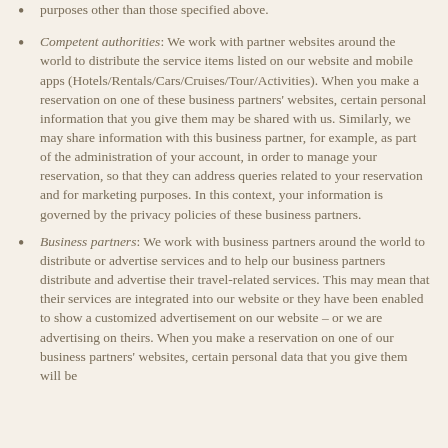purposes other than those specified above.
Competent authorities: We work with partner websites around the world to distribute the service items listed on our website and mobile apps (Hotels/Rentals/Cars/Cruises/Tour/Activities). When you make a reservation on one of these business partners' websites, certain personal information that you give them may be shared with us. Similarly, we may share information with this business partner, for example, as part of the administration of your account, in order to manage your reservation, so that they can address queries related to your reservation and for marketing purposes. In this context, your information is governed by the privacy policies of these business partners.
Business partners: We work with business partners around the world to distribute or advertise services and to help our business partners distribute and advertise their travel-related services. This may mean that their services are integrated into our website or they have been enabled to show a customized advertisement on our website – or we are advertising on theirs. When you make a reservation on one of our business partners' websites, certain personal data that you give them will be